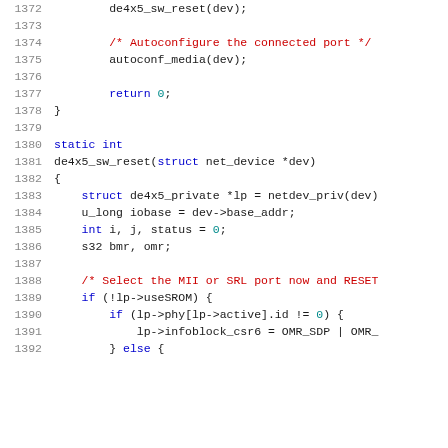[Figure (screenshot): Source code listing lines 1372-1392 of a C program showing de4x5_sw_reset function and surrounding code]